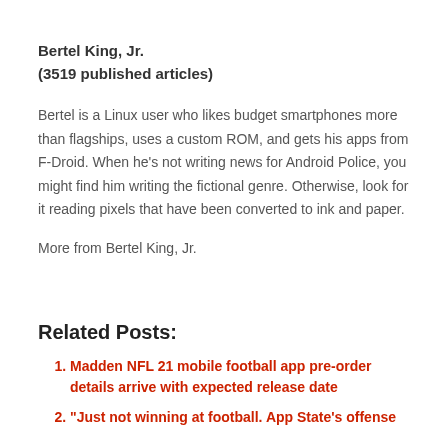Bertel King, Jr.
(3519 published articles)
Bertel is a Linux user who likes budget smartphones more than flagships, uses a custom ROM, and gets his apps from F-Droid. When he's not writing news for Android Police, you might find him writing the fictional genre. Otherwise, look for it reading pixels that have been converted to ink and paper.
More from Bertel King, Jr.
Related Posts:
Madden NFL 21 mobile football app pre-order details arrive with expected release date
"Just not winning at football. App State's offense